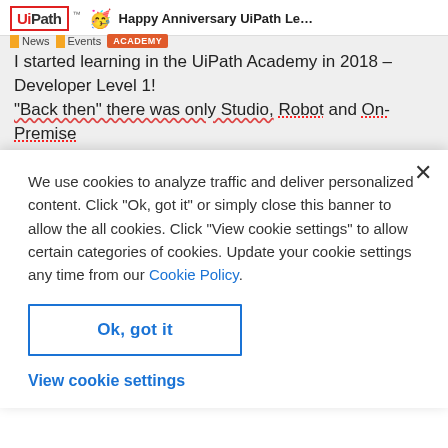UiPath | Happy Anniversary UiPath Learner, Vir... | News | Events | ACADEMY
I started learning in the UiPath Academy in 2018 – Developer Level 1! "Back then" there was only Studio, Robot and On-Premise Orchestrators, can you believe it?!
We use cookies to analyze traffic and deliver personalized content. Click “Ok, got it” or simply close this banner to allow the all cookies. Click "View cookie settings" to allow certain categories of cookies. Update your cookie settings any time from our Cookie Policy.
Ok, got it
View cookie settings